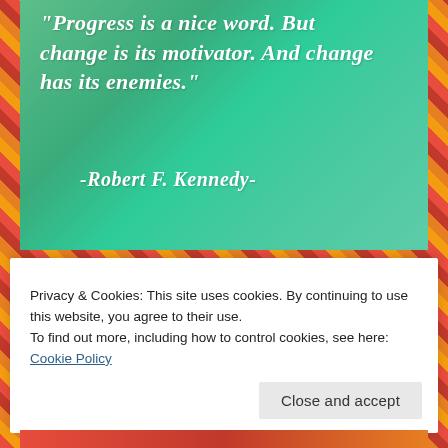[Figure (illustration): A green textured background image displaying a quote in white italic script font: '"Progress is a nice word. But change is its motivator. And change has its enemies."' attributed to '-Robert F. Kennedy-']
Privacy & Cookies: This site uses cookies. By continuing to use this website, you agree to their use.
To find out more, including how to control cookies, see here: Cookie Policy
Close and accept